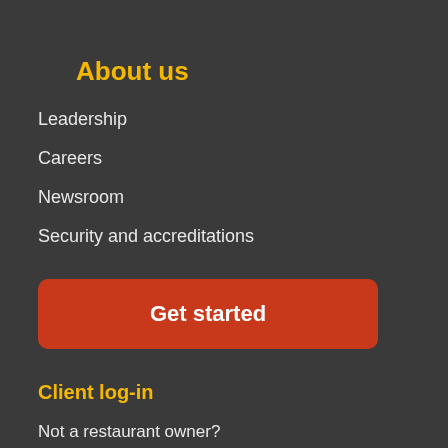About us
Leadership
Careers
Newsroom
Security and accreditations
Get started
Client log-in
Not a restaurant owner?
Dining member rewards